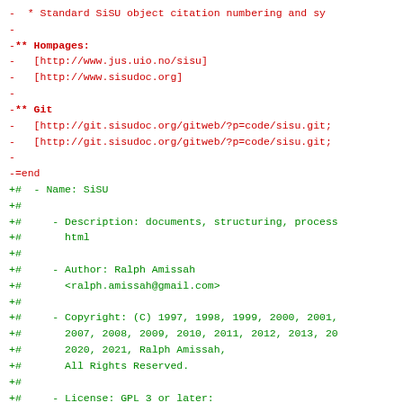-  * Standard SiSU object citation numbering and sy
-
-** Hompages:
-   [http://www.jus.uio.no/sisu]
-   [http://www.sisudoc.org]
-
-** Git
-   [http://git.sisudoc.org/gitweb/?p=code/sisu.git;
-   [http://git.sisudoc.org/gitweb/?p=code/sisu.git;
-
-=end
+#  - Name: SiSU
+#
+#     - Description: documents, structuring, process
+#       html
+#
+#     - Author: Ralph Amissah
+#       <ralph.amissah@gmail.com>
+#
+#     - Copyright: (C) 1997, 1998, 1999, 2000, 2001,
+#       2007, 2008, 2009, 2010, 2011, 2012, 2013, 20
+#       2020, 2021, Ralph Amissah,
+#       All Rights Reserved.
+#
+#     - License: GPL 3 or later:
+#
+#       SiSU, a framework for document structuring,
+#
+#       Copyright (C) Ralph Amissah
+#